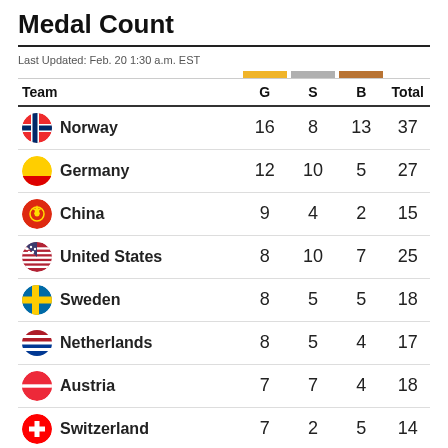Medal Count
Last Updated: Feb. 20 1:30 a.m. EST
| Team | G | S | B | Total |
| --- | --- | --- | --- | --- |
| Norway | 16 | 8 | 13 | 37 |
| Germany | 12 | 10 | 5 | 27 |
| China | 9 | 4 | 2 | 15 |
| United States | 8 | 10 | 7 | 25 |
| Sweden | 8 | 5 | 5 | 18 |
| Netherlands | 8 | 5 | 4 | 17 |
| Austria | 7 | 7 | 4 | 18 |
| Switzerland | 7 | 2 | 5 | 14 |